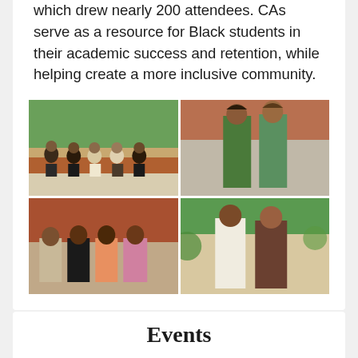which drew nearly 200 attendees. CAs serve as a resource for Black students in their academic success and retention, while helping create a more inclusive community.
[Figure (photo): A 2x2 grid of four outdoor campus photos showing groups of Black students posing and socializing in campus settings with brick buildings and greenery.]
Events